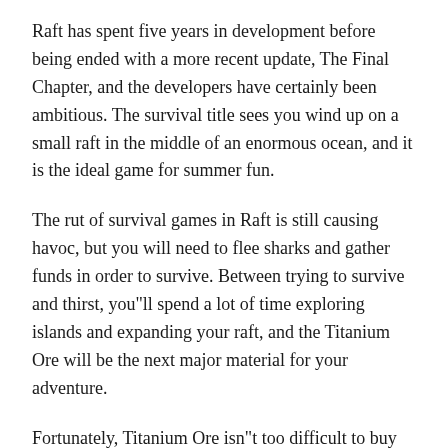Raft has spent five years in development before being ended with a more recent update, The Final Chapter, and the developers have certainly been ambitious. The survival title sees you wind up on a small raft in the middle of an enormous ocean, and it is the ideal game for summer fun.
The rut of survival games in Raft is still causing havoc, but you will need to flee sharks and gather funds in order to survive. Between trying to survive and thirst, you"ll spend a lot of time exploring islands and expanding your raft, and the Titanium Ore will be the next major material for your adventure.
Fortunately, Titanium Ore isn"t too difficult to buy or find in Raft. In this guide, we discuss how to Titanium Ore, how to make Titanium Ingots, and how to use both materials.
HOW TO GET TITANIUM ORE IN